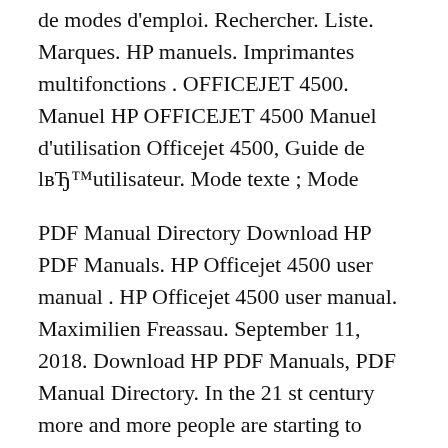de modes d'emploi. Rechercher. Liste. Marques. HP manuels. Imprimantes multifonctions . OFFICEJET 4500. Manuel HP OFFICEJET 4500 Manuel d'utilisation Officejet 4500, Guide de lвЂ™utilisateur. Mode texte ; Mode
PDF Manual Directory Download HP PDF Manuals. HP Officejet 4500 user manual . HP Officejet 4500 user manual. Maximilien Freassau. September 11, 2018. Download HP PDF Manuals, PDF Manual Directory. In the 21 st century more and more people are starting to work from home, so they are basically transferring the home into an office working place. They are usually owners of small home based HP Printers - Minimum security settings for products on the open Internet; HP Printers - AirPrint Print Job